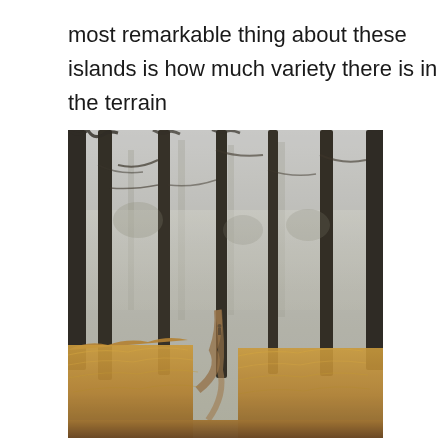most remarkable thing about these islands is how much variety there is in the terrain
[Figure (photo): A misty pine forest with tall, dark tree trunks rising into fog. The forest floor is covered with golden-orange ferns and bracken. A narrow dirt path winds through the middle of the scene. The atmosphere is moody and atmospheric with low visibility due to mist.]